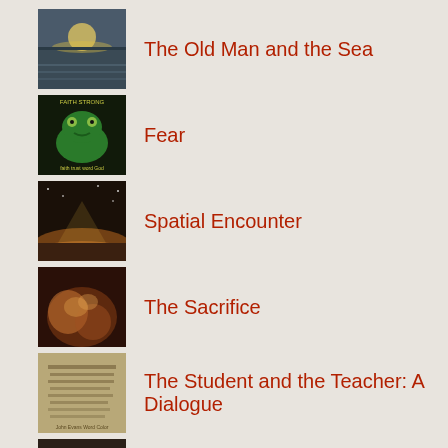The Old Man and the Sea
Fear
Spatial Encounter
The Sacrifice
The Student and the Teacher: A Dialogue
It's Nothing (Trimeric)
Fallen
Dragons Blue